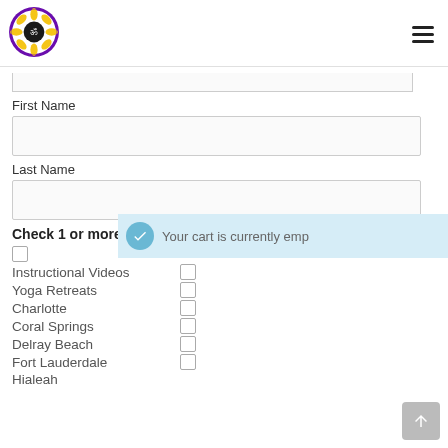[Figure (logo): Urban Bliss Yoga circular logo with sunflower and Om symbol]
First Name
Last Name
Check 1 or more
Instructional Videos
Yoga Retreats
Charlotte
Coral Springs
Delray Beach
Fort Lauderdale
Hialeah
Your cart is currently emp